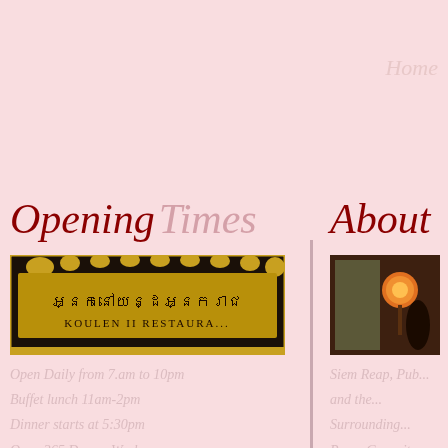Home
Opening Times
[Figure (photo): Golden ornate sign for Koulen II Restaurant with Khmer script]
Open Daily from 7.am to 10pm
Buffet lunch 11am-2pm
Dinner starts at 5:30pm
Open 365 Days a Week
About
[Figure (photo): Interior of restaurant with warm lighting and decorative elements]
Siem Reap, Pub...
and the...
Surrounding...
Room Capacity...